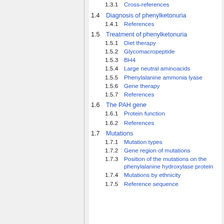1.3.1 Cross-references
1.4 Diagnosis of phenylketonuria
1.4.1 References
1.5 Treatment of phenylketonuria
1.5.1 Diet therapy
1.5.2 Glycomacropeptide
1.5.3 BH4
1.5.4 Large neutral aminoacids
1.5.5 Phenylalanine ammonia lyase
1.5.6 Gene therapy
1.5.7 References
1.6 The PAH gene
1.6.1 Protein function
1.6.2 References
1.7 Mutations
1.7.1 Mutation types
1.7.2 Gene region of mutations
1.7.3 Position of the mutations on the phenylalanine hydroxylase protein
1.7.4 Mutations by ethnicity
1.7.5 Reference sequence